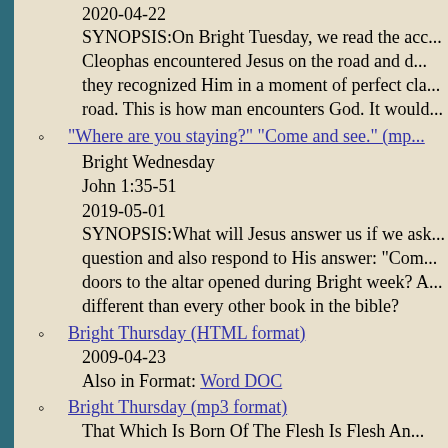2020-04-22
SYNOPSIS:On Bright Tuesday, we read the account of how Cleophas encountered Jesus on the road and did not recognize Him, yet they recognized Him in a moment of perfect clarity at the end of the road. This is how man encounters God. It would...
"Where are you staying?" "Come and see." (mp...)
Bright Wednesday
John 1:35-51
2019-05-01
SYNOPSIS:What will Jesus answer us if we ask Him that question and also respond to His answer: "Com... doors to the altar opened during Bright week? A... different than every other book in the bible?
Bright Thursday (HTML format)
2009-04-23
Also in Format: Word DOC
Bright Thursday (mp3 format)
That Which Is Born Of The Flesh Is Flesh An...
The Encounter With Nicodemus
John 3-1-15
2011-02-28
Bright Thursday (mp3 format)
Bright Thursday Nicodemu... And Christ...